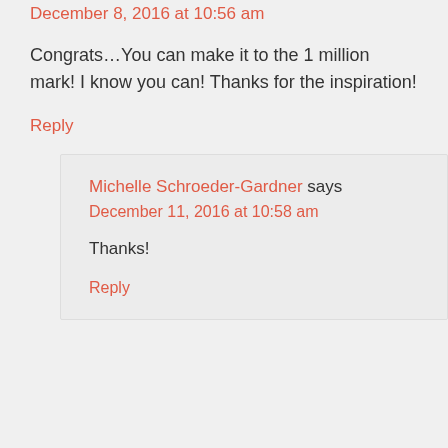December 8, 2016 at 10:56 am
Congrats…You can make it to the 1 million mark! I know you can! Thanks for the inspiration!
Reply
Michelle Schroeder-Gardner says
December 11, 2016 at 10:58 am
Thanks!
Reply